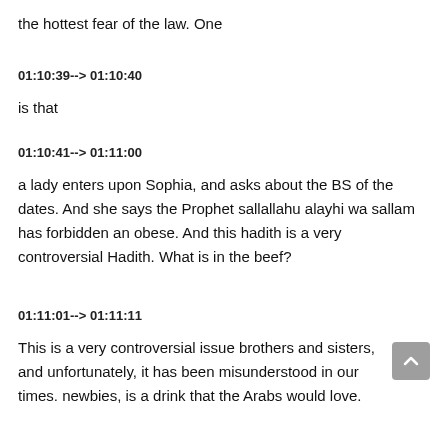the hottest fear of the law. One
01:10:39--> 01:10:40
is that
01:10:41--> 01:11:00
a lady enters upon Sophia, and asks about the BS of the dates. And she says the Prophet sallallahu alayhi wa sallam has forbidden an obese. And this hadith is a very controversial Hadith. What is in the beef?
01:11:01--> 01:11:11
This is a very controversial issue brothers and sisters, and unfortunately, it has been misunderstood in our times. newbies, is a drink that the Arabs would love.